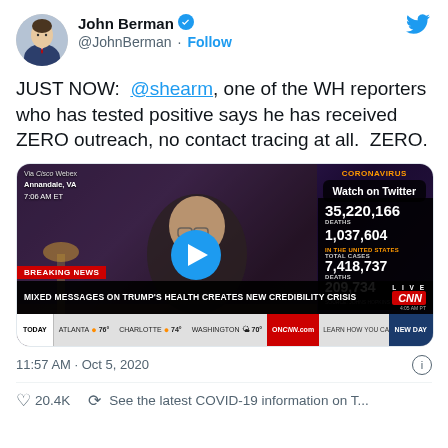[Figure (screenshot): Twitter/X profile header: avatar photo of John Berman, display name 'John Berman' with blue verified checkmark, username '@JohnBerman · Follow', Twitter bird icon top right]
JUST NOW:  @shearm, one of the WH reporters who has tested positive says he has received ZERO outreach, no contact tracing at all.  ZERO.
[Figure (screenshot): CNN video thumbnail showing a man on a Cisco Webex call from Annandale, VA at 7:06 AM ET. Right side shows coronavirus stats: 35,220,166 total, DEATHS 1,037,604, IN THE UNITED STATES TOTAL CASES 7,418,737, DEATHS 209,734. Watch on Twitter overlay. Play button. Breaking News banner: MIXED MESSAGES ON TRUMP'S HEALTH CREATES NEW CREDIBILITY CRISIS. CNN logo with LIVE label. Bottom ticker showing TODAY, ATLANTA 76°, CHARLOTTE 74°, WASHINGTON 70°, ON CNN.com LEARN HOW YOU CAN HELP WEST COAST FIRE VI... NEW DAY]
11:57 AM · Oct 5, 2020
20.4K   See the latest COVID-19 information on T...